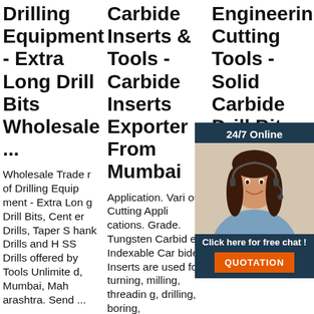Drilling Equipment - Extra Long Drill Bits Wholesale ...
Wholesale Trader of Drilling Equipment - Extra Long Drill Bits, Center Drills, Taper Shank Drills and HSS Drills offered by Tools Unlimited, Mumbai, Maharashtra. Send ...
Carbide Inserts & Tools - Carbide Inserts Exporter From Mumbai
Application. Various Cutting Applications. Grade. Tungsten Carbide. Indexable Carbide Inserts are used for turning, milling, threading, drilling, boring,
Engineering Cutting Tools - Solid Carbide Drill Bit
Engineering Cutting Tools rs in we bide ide exatters - stanley kennedy cromwell kobe, hss carbide white tool bit, hss carbide flat pa
[Figure (photo): Customer support woman with headset, smiling, with 24/7 Online chat popup overlay]
Click here for free chat !
QUOTATION